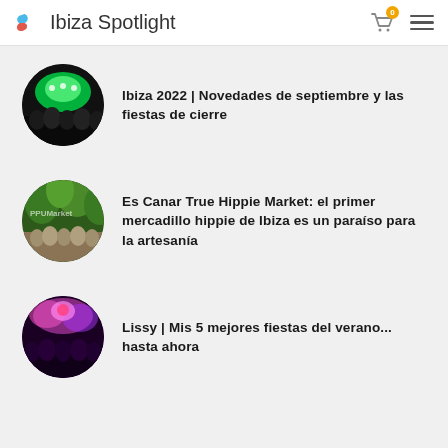Ibiza Spotlight
Ibiza 2022 | Novedades de septiembre y las fiestas de cierre
Es Canar True Hippie Market: el primer mercadillo hippie de Ibiza es un paraíso para la artesanía
Lissy | Mis 5 mejores fiestas del verano... hasta ahora